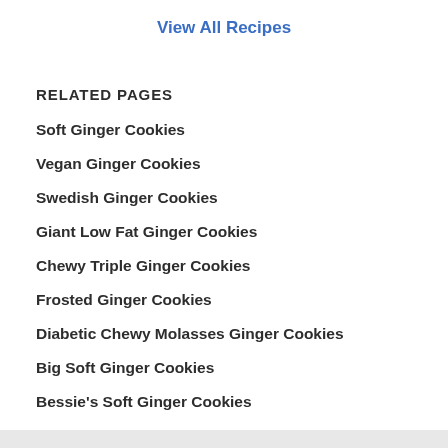View All Recipes
RELATED PAGES
Soft Ginger Cookies
Vegan Ginger Cookies
Swedish Ginger Cookies
Giant Low Fat Ginger Cookies
Chewy Triple Ginger Cookies
Frosted Ginger Cookies
Diabetic Chewy Molasses Ginger Cookies
Big Soft Ginger Cookies
Bessie's Soft Ginger Cookies